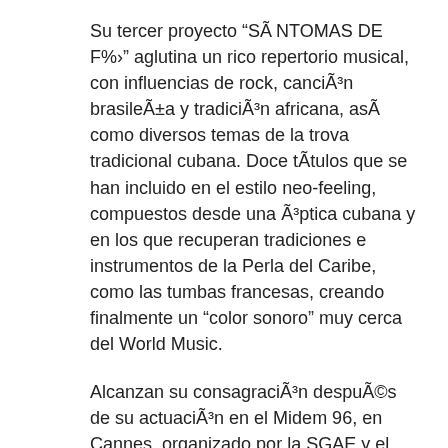Su tercer proyecto “SÍNTOMAS DE Fé” aglutina un rico repertorio musical, con influencias de rock, canción brasileña y tradición africana, así como diversos temas de la trova tradicional cubana. Doce títulos que se han incluido en el estilo neo-feeling, compuestos desde una óptica cubana y en los que recuperan tradiciones e instrumentos de la Perla del Caribe, como las tumbas francesas, creando finalmente un “color sonoro” muy cerca del World Music.
Alcanzan su consagración después de su actuación en el Midem 96, en Cannes, organizado por la SGAE y el Ministerio de Cultura, que fue aclamada tanto por la prensa, como por el público. Y repiten en el año 1998 en el Midem Latin de Miami.
Han recorrido toda Europa, con destacada